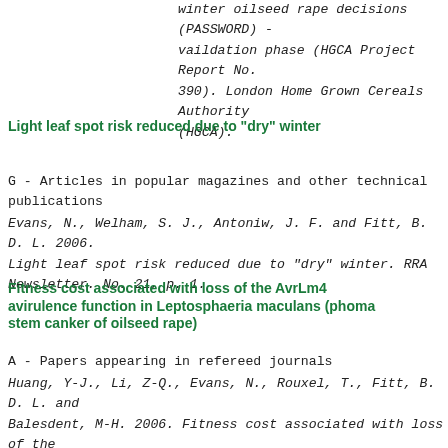winter oilseed rape decisions (PASSWORD) - vaildation phase (HGCA Project Report No. 390). London Home Grown Cereals Authority (HGCA).
Light leaf spot risk reduced due to "dry" winter
G - Articles in popular magazines and other technical publications
Evans, N., Welham, S. J., Antoniw, J. F. and Fitt, B. D. L. 2006. Light leaf spot risk reduced due to "dry" winter. RRA Newsletter. No. 21, p. 1.
Fitness cost associated with loss of the AvrLm4 avirulence function in Leptosphaeria maculans (phoma stem canker of oilseed rape)
A - Papers appearing in refereed journals
Huang, Y-J., Li, Z-Q., Evans, N., Rouxel, T., Fitt, B. D. L. and Balesdent, M-H. 2006. Fitness cost associated with loss of the AvrLm4 avirulence function in Leptosphaeria maculans (phom stem canker of oilseed rape). European Journal of Plant